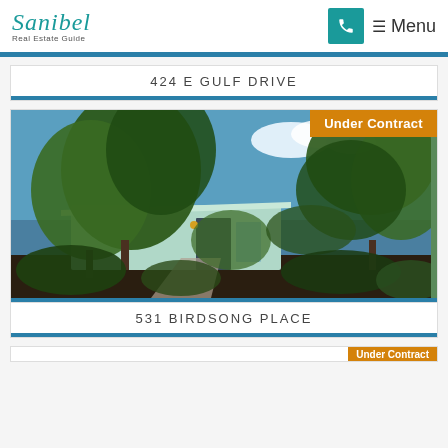Sanibel Real Estate Guide | Phone | Menu
424 E GULF DRIVE
[Figure (photo): Exterior photo of a mid-century modern home with lush tropical greenery and trees in foreground, light blue/mint colored house visible behind vegetation, with 'Under Contract' badge in upper right corner]
531 BIRDSONG PLACE